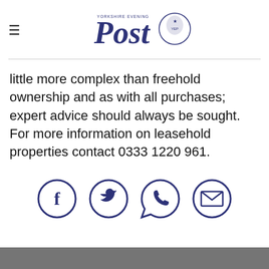Yorkshire Evening Post logo with hamburger menu
little more complex than freehold ownership and as with all purchases; expert advice should always be sought. For more information on leasehold properties contact 0333 1220 961.
[Figure (infographic): Four circular social media / contact icons: Facebook, Twitter, WhatsApp, Email — in dark navy/indigo color]